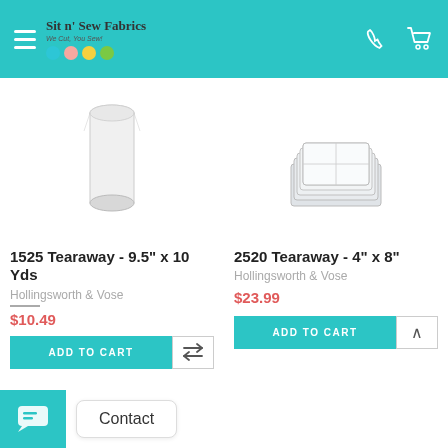Sit n' Sew Fabrics — We Cut, You Sew!
[Figure (photo): White roll of tearaway stabilizer fabric on white background]
1525 Tearaway - 9.5" x 10 Yds
Hollingsworth & Vose
$10.49
[Figure (photo): Stack of white tearaway stabilizer pre-cut sheets on white background]
2520 Tearaway - 4" x 8"
Hollingsworth & Vose
$23.99
ADD TO CART
ADD TO CART
Contact